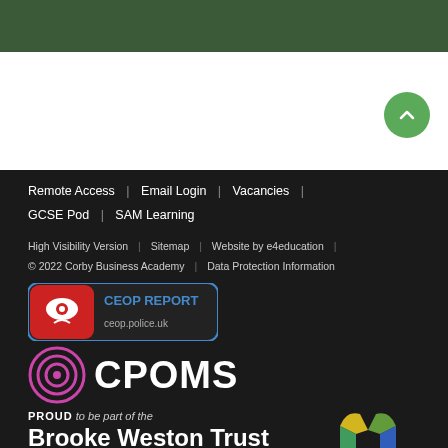[Figure (photo): Dark green background image at top of page]
[Figure (other): Green circular scroll-to-top button with upward chevron arrow]
Remote Access | Email Login | Vacancies | GCSE Pod | SAM Learning
High Visibility Version | Sitemap | Website by e4education | © 2022 Corby Business Academy | Data Protection Information
[Figure (logo): CEOP Report badge with red background, eye icon, and text ceop.police.uk]
[Figure (logo): CPOMS logo with circular concentric rings icon and CPOMS text in white]
[Figure (logo): Brooke Weston Trust logo with colorful puzzle-piece icon. Text: PROUD to be part of the Brooke Weston Trust]